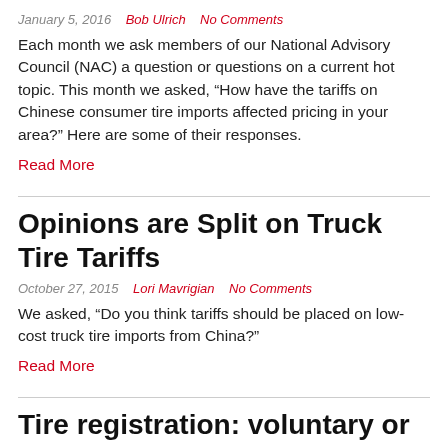January 5, 2016   Bob Ulrich   No Comments
Each month we ask members of our National Advisory Council (NAC) a question or questions on a current hot topic. This month we asked, “How have the tariffs on Chinese consumer tire imports affected pricing in your area?” Here are some of their responses.
Read More
Opinions are Split on Truck Tire Tariffs
October 27, 2015   Lori Mavrigian   No Comments
We asked, “Do you think tariffs should be placed on low-cost truck tire imports from China?”
Read More
Tire registration: voluntary or mandatory? Readers respond